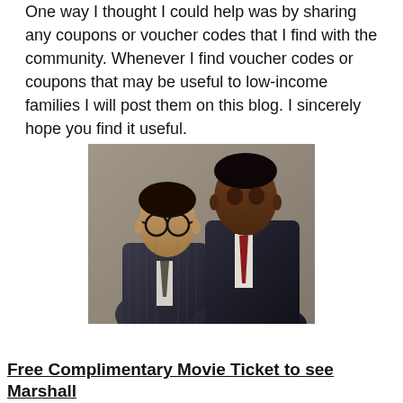One way I thought I could help was by sharing any coupons or voucher codes that I find with the community. Whenever I find voucher codes or coupons that may be useful to low-income families I will post them on this blog. I sincerely hope you find it useful.
[Figure (photo): Two men in suits posing for a movie promotional photo. The man on the left wears glasses and a dark pinstripe suit. The man on the right is taller and wearing a dark suit with a red tie.]
Free Complimentary Movie Ticket to see Marshall